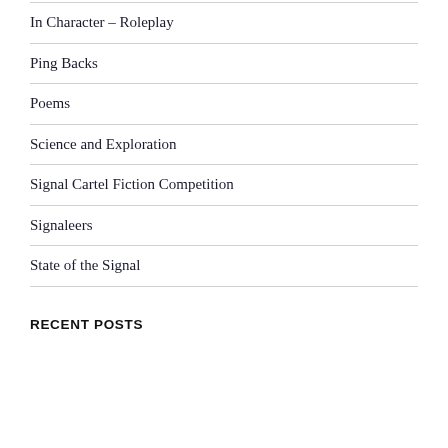In Character – Roleplay
Ping Backs
Poems
Science and Exploration
Signal Cartel Fiction Competition
Signaleers
State of the Signal
RECENT POSTS